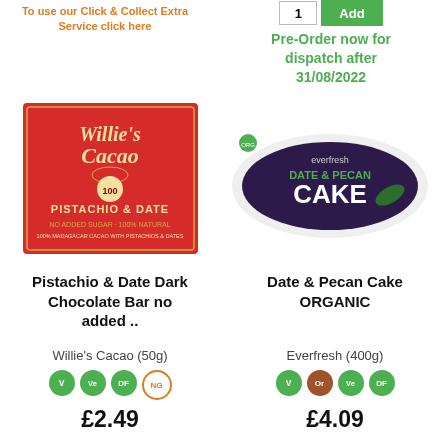To use our Click & Collect Extra Service click here
Pre-Order now for dispatch after 31/08/2022
[Figure (photo): Willie's Cacao Pistachio & Date chocolate bar product image — red packaging]
[Figure (photo): Everfresh Date & Pecan Cake ORGANIC product image — dark purple packaging]
Pistachio & Date Dark Chocolate Bar no added ..
Date & Pecan Cake ORGANIC
Willie's Cacao (50g)
Everfresh (400g)
£2.49
£4.09